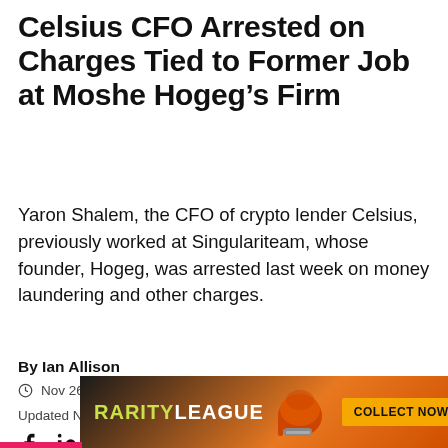Celsius CFO Arrested on Charges Tied to Former Job at Moshe Hogeg’s Firm
Yaron Shalem, the CFO of crypto lender Celsius, previously worked at Singulariteam, whose founder, Hogeg, was arrested last week on money laundering and other charges.
By Ian Allison
Nov 26, 2021 at 6:27 p.m. UTC
Updated Nov 29, 2021 at 5:15 p.m. UTC
[Figure (other): Social sharing icons: Facebook, LinkedIn, Twitter, Email]
[Figure (other): Advertisement banner for Rarity League with NFL branding and Collect Now button]